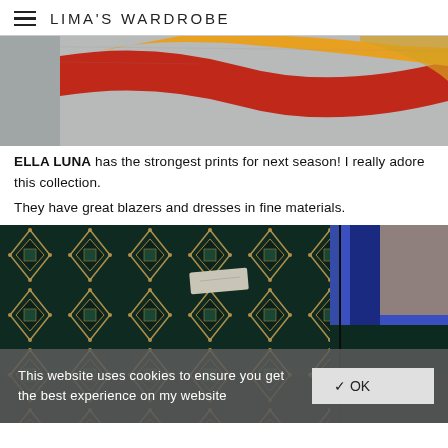LIMA'S WARDROBE
[Figure (photo): Close-up photo of colorful knitwear with red, yellow, and blue stripes on a grey background - partially visible top portion]
ELLA LUNA has the strongest prints for next season! I really adore this collection.
They have great blazers and dresses in fine materials.
[Figure (photo): Close-up photo of a dark sweater/knit top with geometric gold and white patterns on a black/teal background]
This website uses cookies to ensure you get the best experience on my website